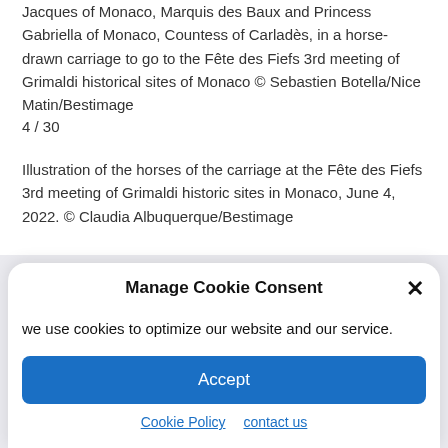Jacques of Monaco, Marquis des Baux and Princess Gabriella of Monaco, Countess of Carladès, in a horse-drawn carriage to go to the Fête des Fiefs 3rd meeting of Grimaldi historical sites of Monaco © Sebastien Botella/Nice Matin/Bestimage
4 / 30
Illustration of the horses of the carriage at the Fête des Fiefs 3rd meeting of Grimaldi historic sites in Monaco, June 4, 2022. © Claudia Albuquerque/Bestimage
Manage Cookie Consent
we use cookies to optimize our website and our service.
Accept
Cookie Policy   contact us